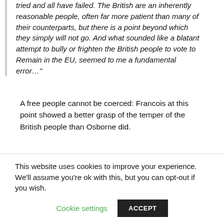tried and all have failed. The British are an inherently reasonable people, often far more patient than many of their counterparts, but there is a point beyond which they simply will not go. And what sounded like a blatant attempt to bully or frighten the British people to vote to Remain in the EU, seemed to me a fundamental error…"
A free people cannot be coerced: Francois at this point showed a better grasp of the temper of the British people than Osborne did.
Francois was born in London in 1965, but when he was only six his parents took him to live in Basildon, a new town in Essex, to a house on an estate which looked like
This website uses cookies to improve your experience. We'll assume you're ok with this, but you can opt-out if you wish.